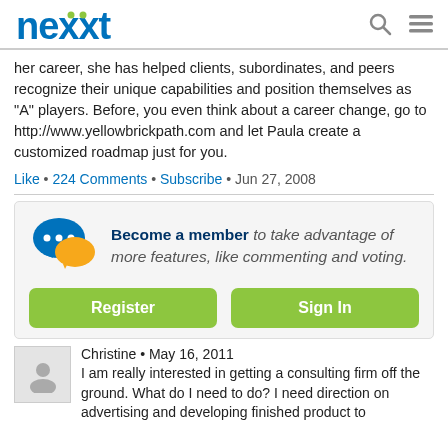nexxt
her career, she has helped clients, subordinates, and peers recognize their unique capabilities and position themselves as "A" players. Before, you even think about a career change, go to http://www.yellowbrickpath.com and let Paula create a customized roadmap just for you.
Like • 224 Comments • Subscribe • Jun 27, 2008
[Figure (infographic): Chat bubble icons (blue and yellow) with text: Become a member to take advantage of more features, like commenting and voting. Buttons: Register, Sign In]
Christine • May 16, 2011
I am really interested in getting a consulting firm off the ground. What do I need to do? I need direction on advertising and developing finished product to